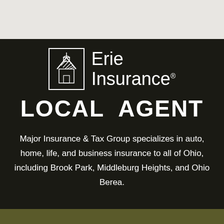[Figure (logo): Erie Insurance logo with building/steeple icon in white outline box, followed by 'Erie Insurance®' text in white]
LOCAL AGENT
Major Insurance & Tax Group specializes in auto, home, life, and business insurance to all of Ohio, including Brook Park, Middleburg Heights, and Ohio Berea.